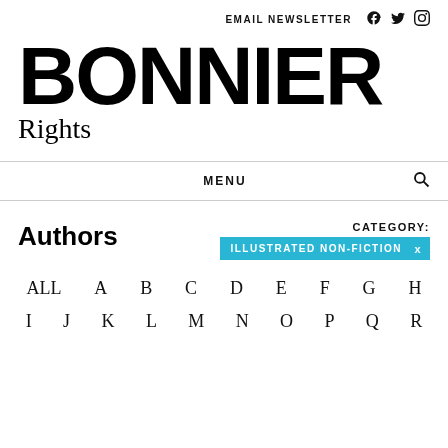EMAIL NEWSLETTER  f  tw  ig
BONNIER Rights
MENU
Authors
CATEGORY: ILLUSTRATED NON-FICTION x
ALL  A  B  C  D  E  F  G  H
I  J  K  L  M  N  O  P  Q  R